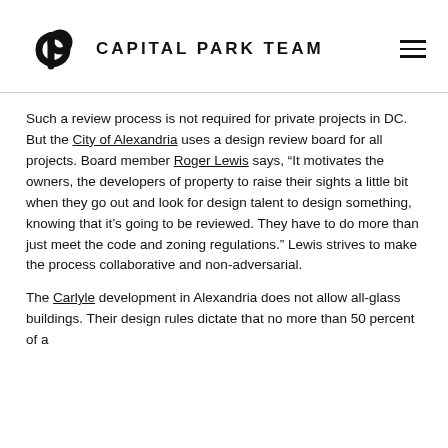CAPITAL PARK TEAM
Such a review process is not required for private projects in DC. But the City of Alexandria uses a design review board for all projects. Board member Roger Lewis says, “It motivates the owners, the developers of property to raise their sights a little bit when they go out and look for design talent to design something, knowing that it’s going to be reviewed. They have to do more than just meet the code and zoning regulations.” Lewis strives to make the process collaborative and non-adversarial.
The Carlyle development in Alexandria does not allow all-glass buildings. Their design rules dictate that no more than 50 percent of a